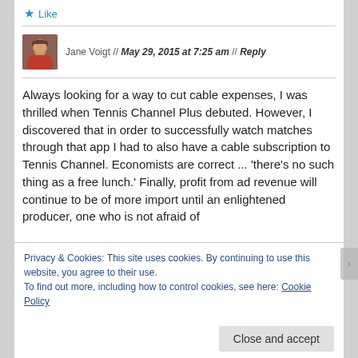★ Like
Jane Voigt // May 29, 2015 at 7:25 am // Reply
Always looking for a way to cut cable expenses, I was thrilled when Tennis Channel Plus debuted. However, I discovered that in order to successfully watch matches through that app I had to also have a cable subscription to Tennis Channel. Economists are correct ... 'there's no such thing as a free lunch.' Finally, profit from ad revenue will continue to be of more import until an enlightened producer, one who is not afraid of
Privacy & Cookies: This site uses cookies. By continuing to use this website, you agree to their use.
To find out more, including how to control cookies, see here: Cookie Policy
Close and accept